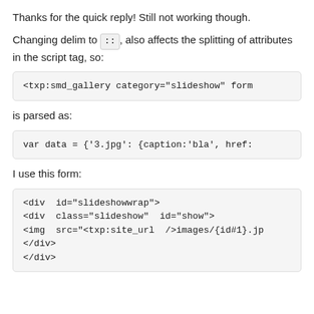Thanks for the quick reply! Still not working though.
Changing delim to ::, also affects the splitting of attributes in the script tag, so:
<txp:smd_gallery category="slideshow" form
is parsed as:
var data = {'3.jpg': {caption:'bla', href:
I use this form:
<div id="slideshowwrap">
<div class="slideshow" id="show">
<img src="<txp:site_url />images/{id#1}.jp
</div>
</div>